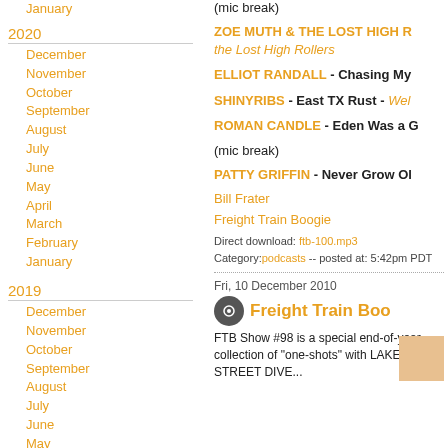January
2020
December
November
October
September
August
July
June
May
April
March
February
January
2019
December
November
October
September
August
July
June
May
April
March
February
January
2018
December
(mic break)
ZOE MUTH & THE LOST HIGH R... the Lost High Rollers
ELLIOT RANDALL - Chasing My...
SHINYRIBS - East TX Rust - Wel...
ROMAN CANDLE - Eden Was a G...
(mic break)
PATTY GRIFFIN - Never Grow Ol...
Bill Frater
Freight Train Boogie
Direct download: ftb-100.mp3
Category:podcasts -- posted at: 5:42pm PDT
Fri, 10 December 2010
Freight Train Boo...
FTB Show #98 is a special end-of-year collection of "one-shots" with LAKE STREET DIVE...